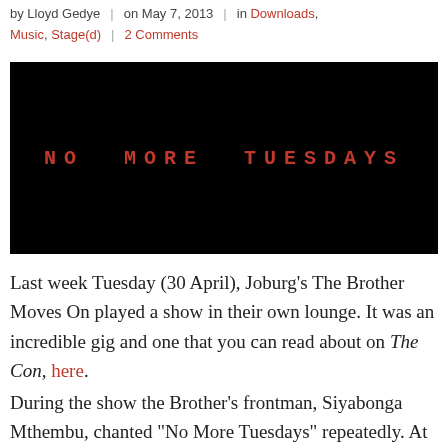by Lloyd Gedye | on May 7, 2013 | in Downloads, Music, Stage(d) | 2 Comments
[Figure (photo): Black background image with red monospaced text reading 'NO MORE TUESDAYS' in uppercase with letter spacing]
Last week Tuesday (30 April), Joburg's The Brother Moves On played a show in their own lounge. It was an incredible gig and one that you can read about on The Con, here.
During the show the Brother's frontman, Siyabonga Mthembu, chanted "No More Tuesdays" repeatedly. At the time it seemed like just part of the show, but little